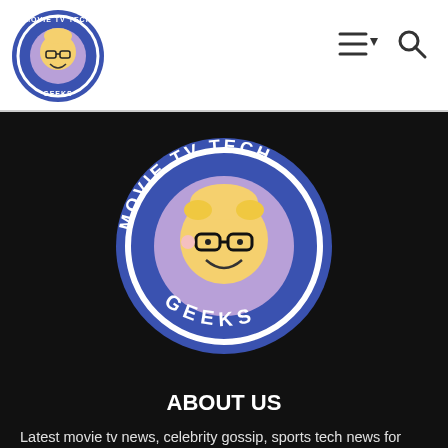Movie TV Tech Geeks – site header with logo and navigation icons
[Figure (logo): Movie TV Tech Geeks circular logo – blue circle with cartoon character wearing glasses, text reads MOVIE TV TECH GEEKS]
ABOUT US
Latest movie tv news, celebrity gossip, sports tech news for geeks from the Movie TV Tech Geeks crew. ALL NAMES, TRADEMARKS AND IMAGES ARE COPYRIGHT OF THEIR RESPECTIVE OWNERS. AFFILIATE LINKS USED WHEN AVAILABLE. As an Amazon Associate we earn from qualifying purchases. You can learn more here: https://movietvtechgeeks.com/movie-tv-tech-geeks-privacy-